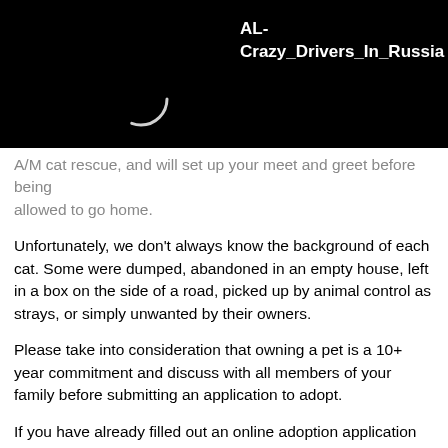[Figure (screenshot): Black header bar with white bold text 'AL-Crazy_Drivers_In_Russia' and a loading spinner circle on the left]
A/M cat rescue, and will set up your meet and greet before being allowed to go home.
Unfortunately, we don't always know the background of each cat. Some were dumped, abandoned in an empty house, left in a box on the side of a road, picked up by animal control as strays, or simply unwanted by their owners.
Please take into consideration that owning a pet is a 10+ year commitment and discuss with all members of your family before submitting an application to adopt.
If you have already filled out an online adoption application with our organization in the last 6 months you do not need to fill out another application. Please call or email us to schedule an appointment  If you are interested in meeting this pet please apply to adopt at /adopt.html if the pet is still available for adoption and you are approved to adopt we will contact you to set up a meet and greet appointment May 19, 2022, 3:54 pm